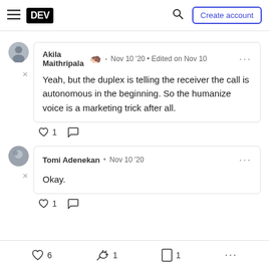DEV — Create account
Akila Maithripala • Nov 10 '20 • Edited on Nov 10
Yeah, but the duplex is telling the receiver the call is autonomous in the beginning. So the humanize voice is a marketing trick after all.
♡ 1  ○
Tomi Adenekan • Nov 10 '20
Okay.
♡ 1  ○
♡ 6   1   1   ...